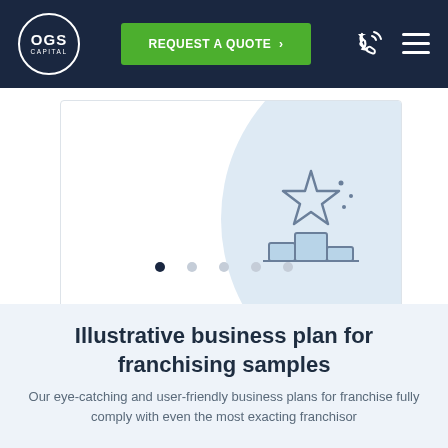OGS CAPITAL | REQUEST A QUOTE
[Figure (illustration): Slide card with a light blue arc background and a trophy/podium icon with a star on top, depicted in outline style. Five pagination dots below with the first dot filled dark.]
Illustrative business plan for franchising samples
Our eye-catching and user-friendly business plans for franchise fully comply with even the most exacting franchisor